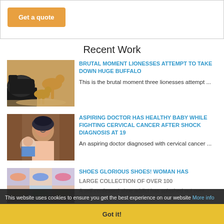[Figure (other): Orange 'Get a quote' button inside a bordered box]
Recent Work
[Figure (photo): Photo of lionesses attacking a buffalo in the wild]
BRUTAL MOMENT LIONESSES ATTEMPT TO TAKE DOWN HUGE BUFFALO
This is the brutal moment three lionesses attempt ...
[Figure (photo): Photo of a young woman holding a baby]
ASPIRING DOCTOR HAS HEALTHY BABY WHILE FIGHTING CERVICAL CANCER AFTER SHOCK DIAGNOSIS AT 19
An aspiring doctor diagnosed with cervical cancer ...
[Figure (photo): Photo showing shoes collection]
SHOES GLORIOUS SHOES! WOMAN HAS LARGE COLLECTION OF OVER 100
A self-confessed shoe addict has splashed out over...
This website uses cookies to ensure you get the best experience on our website More info
Got it!